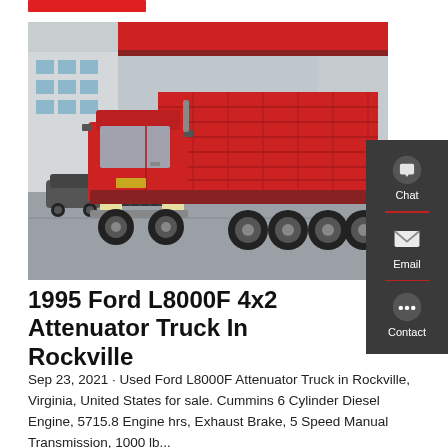[Figure (photo): Red dump truck (Sinotruk HOWO style) parked in a lot in front of a building with red signage. The truck has a large red cargo box and multiple rear axles.]
1995 Ford L8000F 4x2 Attenuator Truck In Rockville
Sep 23, 2021 · Used Ford L8000F Attenuator Truck in Rockville, Virginia, United States for sale. Cummins 6 Cylinder Diesel Engine, 5715.8 Engine hrs, Exhaust Brake, 5 Speed Manual Transmission, 1000 lb...